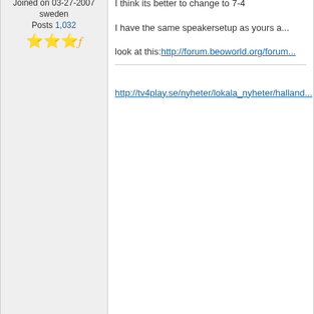Joined on 03-27-2007
sweden
Posts 1,032
I think its better to change to 7-4
I have the same speakersetup as yours a...
look at this:http://forum.beoworld.org/forum...
http://tv4play.se/nyheter/lokala_nyheter/halland...
03-06-2010 2:21 PM
bayerische
.
Joined on 12-11-2007
Helsinki, Finland
Posts 3,593
Re: My new Beolab 9 and The old...
I'm son't think the BL2 will do you much go...
For pure esthetic  reasons alone I would e...